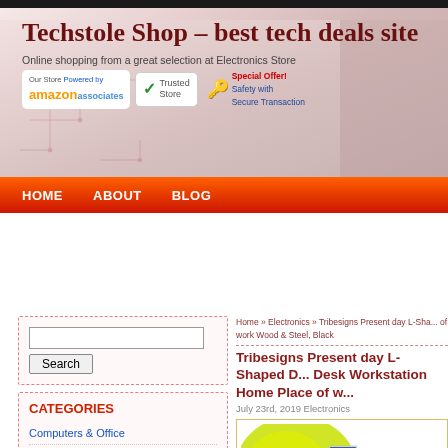Techstole Shop – best tech deals site
Online shopping from a great selection at Electronics Store
[Figure (screenshot): Header banner with site title, Amazon Associates badge, Trusted Store badge, and Special Offer text with keys icon]
HOME   ABOUT   BLOG
Home » Electronics » Tribesigns Present day L-Shaped Desk Workstation Home Place of work Wood & Steel, Black
Tribesigns Present day L-Shaped Desk Workstation Home Place of work Wood & Steel, Black
July 23rd, 2019 Electronics
CATEGORIES
Computers & Office
Computers &amp; Office
Electronics
Electronics Computers & Off...
[Figure (photo): Product image of an L-shaped desk with yellow accent, dark steel frame, showing a computer monitor on the desk]